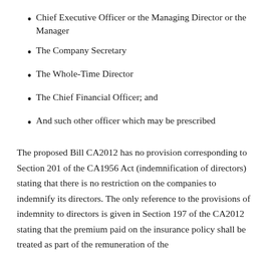Chief Executive Officer or the Managing Director or the Manager
The Company Secretary
The Whole-Time Director
The Chief Financial Officer; and
And such other officer which may be prescribed
The proposed Bill CA2012 has no provision corresponding to Section 201 of the CA1956 Act (indemnification of directors) stating that there is no restriction on the companies to indemnify its directors. The only reference to the provisions of indemnity to directors is given in Section 197 of the CA2012 stating that the premium paid on the insurance policy shall be treated as part of the remuneration of the